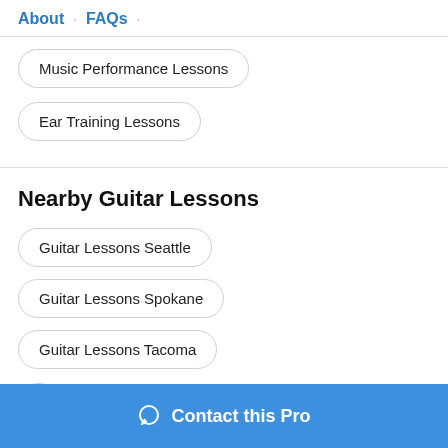About · FAQs ·
Music Performance Lessons
Ear Training Lessons
Nearby Guitar Lessons
Guitar Lessons Seattle
Guitar Lessons Spokane
Guitar Lessons Tacoma
Contact this Pro